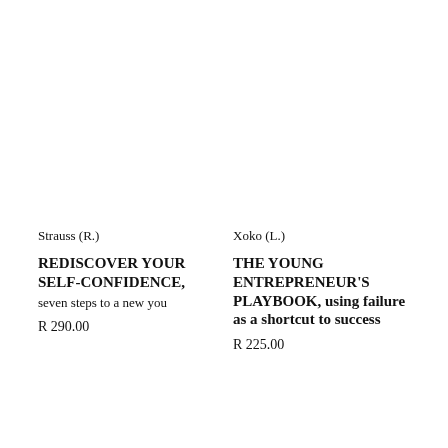Strauss (R.)
REDISCOVER YOUR SELF-CONFIDENCE, seven steps to a new you
R 290.00
Xoko (L.)
THE YOUNG ENTREPRENEUR'S PLAYBOOK, using failure as a shortcut to success
R 225.00